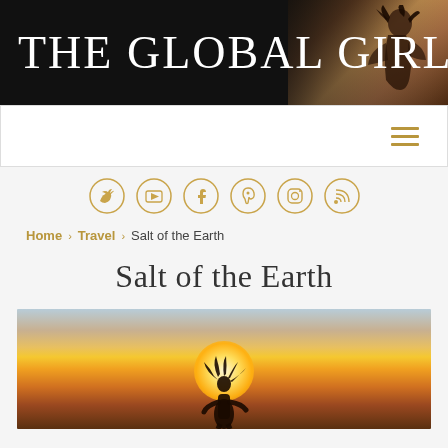THE GLOBAL GIRL.
[Figure (illustration): Navigation bar with hamburger menu icon in gold]
[Figure (illustration): Row of six gold social media icon circles: Twitter, YouTube, Facebook, Pinterest, Instagram, RSS]
Home > Travel > Salt of the Earth
Salt of the Earth
[Figure (photo): Silhouette of a person against a golden sunset sky with warm orange and yellow tones]